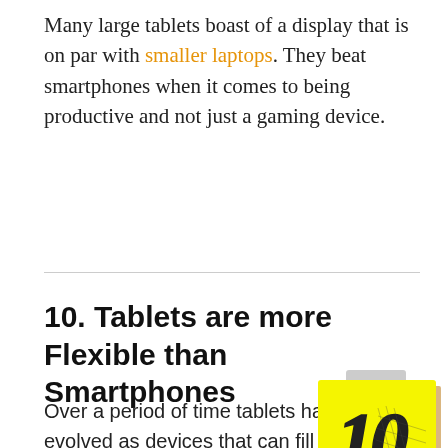Many large tablets boast of a display that is on par with smaller laptops. They beat smartphones when it comes to being productive and not just a gaming device.
10. Tablets are more Flexible than Smartphones
Over a period of time tablets have evolved as devices that can fill the role of a laptop and perform most of its similar functions. At the same time, tablets are like the more evolved and versatile counterparts of smartphones. Almost all the tablets can shoot videos, take photos, as well as facilitate conferencing
[Figure (illustration): A yellow sticky note with the number 10 written in bold handwritten style, with a grey tape piece at the top and an orange/tan shadow piece on the right side.]